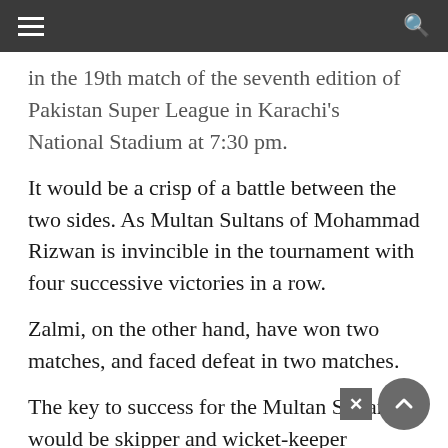[hamburger menu] [search icon]
in the 19th match of the seventh edition of Pakistan Super League in Karachi's National Stadium at 7:30 pm.
It would be a crisp of a battle between the two sides. As Multan Sultans of Mohammad Rizwan is invincible in the tournament with four successive victories in a row.
Zalmi, on the other hand, have won two matches, and faced defeat in two matches.
The key to success for the Multan Sultans would be skipper and wicket-keeper batsman Mohammad Rizwan, Shan Masood, Sohaib Maqsood and leg-spin wizard Imran Tahir